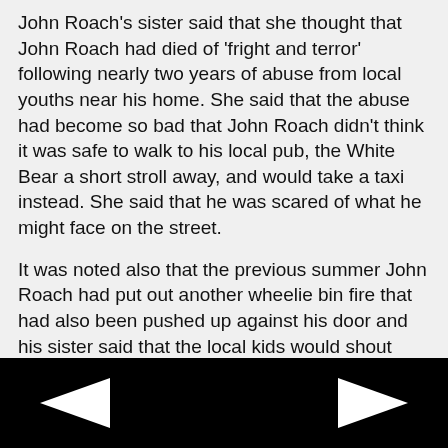John Roach's sister said that she thought that John Roach had died of 'fright and terror' following nearly two years of abuse from local youths near his home. She said that the abuse had become so bad that John Roach didn't think it was safe to walk to his local pub, the White Bear a short stroll away, and would take a taxi instead. She said that he was scared of what he might face on the street.
It was noted also that the previous summer John Roach had put out another wheelie bin fire that had also been pushed up against his door and his sister said that the local kids would shout abuse at John Roach and throw stones at him.
His family said that after John Roach had come out of hospital that he was clearly traumatised by the whole thing and that they felt that the actions of the local youths over the years had clearly led to his death.
They said that when John Roach had come out of hospital that all he had wanted to do was go back to his flat and be